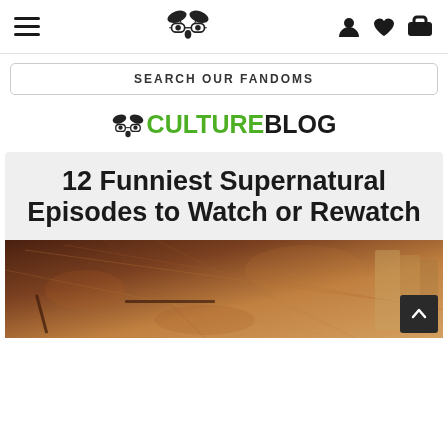Navigation header with hamburger menu, bug logo, and icons
SEARCH OUR FANDOMS
CULTURE BLOG
12 Funniest Supernatural Episodes to Watch or Rewatch
[Figure (photo): A vintage map with tools laid on top, warm brown tones, partially cropped article hero image]